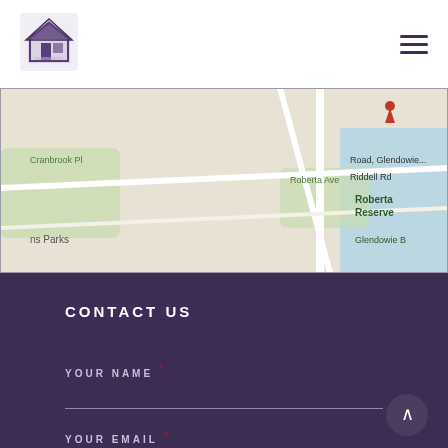[Figure (logo): House/property logo icon in purple tones]
[Figure (screenshot): Google Maps screenshot showing Riddell Road Glendowie area, with labels: Cranbrook Pl, Roberta Ave, Roberta Reserve, Glendowie B, ns Parks, Riddell Rd, Road Glendowie...]
CONTACT US
YOUR NAME *
YOUR EMAIL *